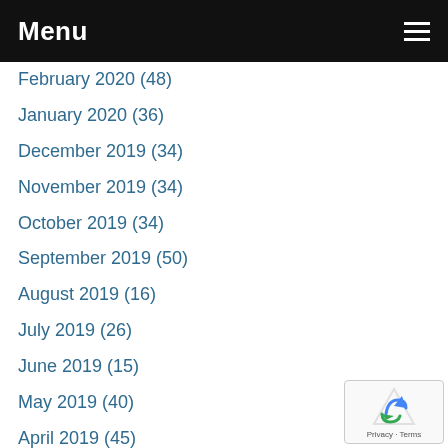Menu
February 2020 (48)
January 2020 (36)
December 2019 (34)
November 2019 (34)
October 2019 (34)
September 2019 (50)
August 2019 (16)
July 2019 (26)
June 2019 (15)
May 2019 (40)
April 2019 (45)
March 2019 (46)
February 2019 (18)
January 2019 (18)